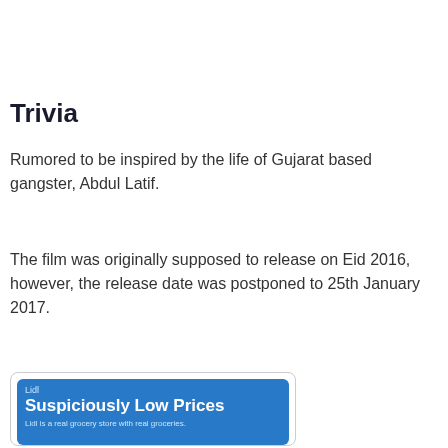Trivia
Rumored to be inspired by the life of Gujarat based gangster, Abdul Latif.
The film was originally supposed to release on Eid 2016, however, the release date was postponed to 25th January 2017.
[Figure (screenshot): Lidl advertisement: 'Suspiciously Low Prices. Lidl is a real grocery store with real groceries.']